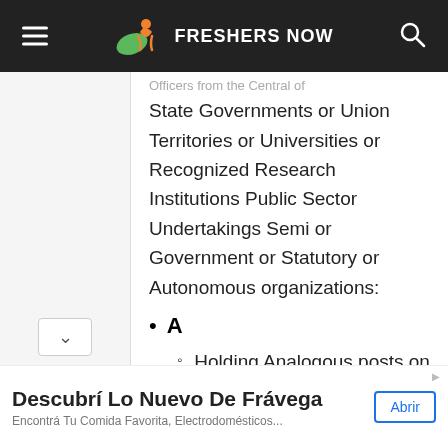FRESHERS NOW
Officers from the Central of State Governments or Union Territories or Universities or Recognized Research Institutions Public Sector Undertakings Semi or Government or Statutory or Autonomous organizations:
A
Holding Analogous posts on regular basis in the parent cadre or department; OR
With 05 (five) years regular...
Descubrí Lo Nuevo De Frávega